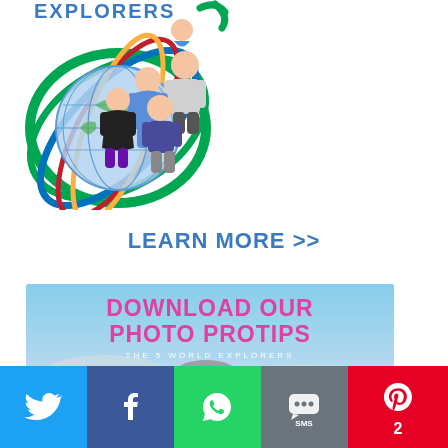[Figure (illustration): The 5 World Explorers logo with animated family characters standing in front of a globe with colorful rings, and 'EXPLORERS' text in blue at the top.]
LEARN MORE >>
[Figure (infographic): Banner image with winter landscape background, magenta bold text reading 'DOWNLOAD OUR PHOTO PROTIPS' and subtitle 'THE 5 WORLD EXPLORERS']
[Figure (infographic): Social share bar with Twitter, Facebook, WhatsApp, SMS, and Pinterest (count: 2) buttons]